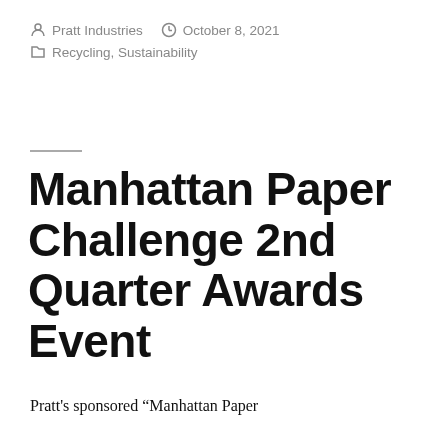Pratt Industries   October 8, 2021   Recycling, Sustainability
Manhattan Paper Challenge 2nd Quarter Awards Event
Pratt's sponsored “Manhattan Paper